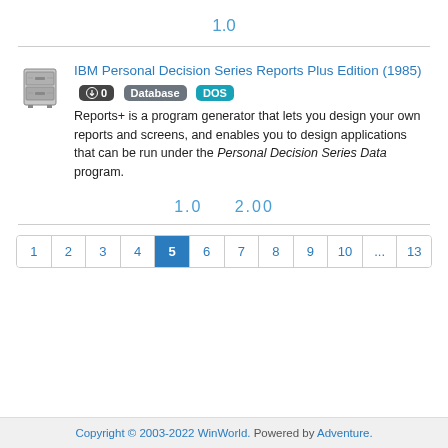1.0
IBM Personal Decision Series Reports Plus Edition (1985)
Reports+ is a program generator that lets you design your own reports and screens, and enables you to design applications that can be run under the Personal Decision Series Data program.
1.0    2.00
1 2 3 4 5 6 7 8 9 10 ... 13
Copyright © 2003-2022 WinWorld. Powered by Adventure.